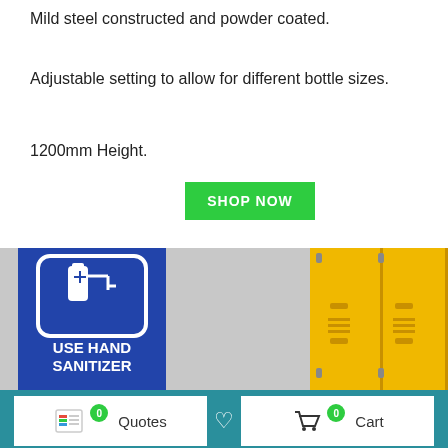Mild steel constructed and powder coated.
Adjustable setting to allow for different bottle sizes.
1200mm Height.
[Figure (other): Green SHOP NOW button]
[Figure (photo): Product image showing USE HAND SANITIZER sign on left and yellow lockers on right with a chat widget overlay showing a parrot icon and Click to Chat bubble]
[Figure (other): Bottom navigation bar with Quotes button (badge 0), heart icon, and Cart button (badge 0) on teal background]